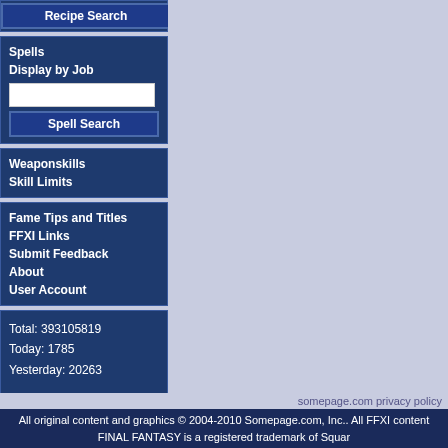Recipe Search
Spells
Display by Job
Spell Search
Weaponskills
Skill Limits
Fame Tips and Titles
FFXI Links
Submit Feedback
About
User Account
Total: 393105819
Today: 1785
Yesterday: 20263

Items: 9505
Mobs: 4024
Recipes: 3285
NPCs: 2066
Quests: 570
somepage.com privacy policy
All original content and graphics © 2004-2010 Somepage.com, Inc.. All FFXI content FINAL FANTASY is a registered trademark of Squar